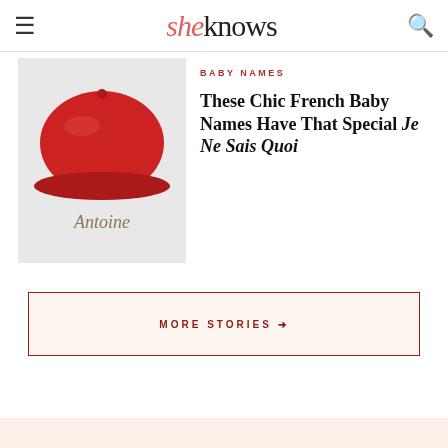sheknows
BABY NAMES
[Figure (illustration): Red French beret hat with the name 'Antoine' written in italic text below it, on a light gray background]
These Chic French Baby Names Have That Special Je Ne Sais Quoi
MORE STORIES →